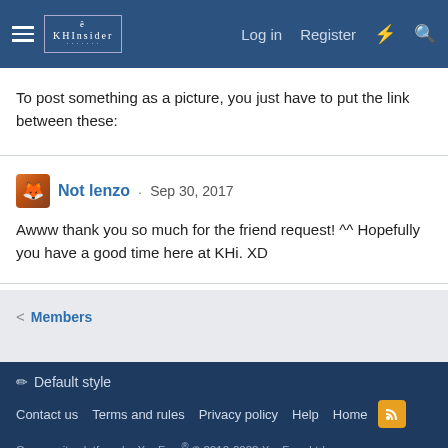KHInsider — Log in  Register
To post something as a picture, you just have to put the link between these:
Not lenzo · Sep 30, 2017
Awww thank you so much for the friend request! ^^ Hopefully you have a good time here at KHi. XD
< Members
Default style
Contact us  Terms and rules  Privacy policy  Help  Home
Community platform by XenForo® © 2010-2022 XenForo Ltd.
Awards System by AddonFlare - Premium XF2 Addons
Xenforo Theme by © XenTR